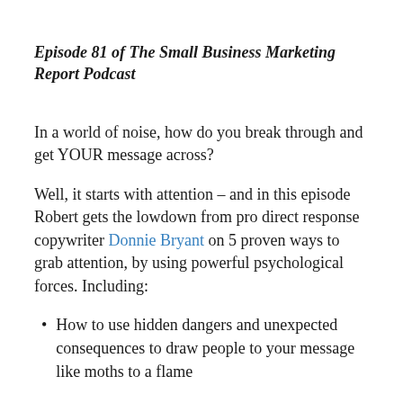Episode 81 of The Small Business Marketing Report Podcast
In a world of noise, how do you break through and get YOUR message across?
Well, it starts with attention – and in this episode Robert gets the lowdown from pro direct response copywriter Donnie Bryant on 5 proven ways to grab attention, by using powerful psychological forces. Including:
How to use hidden dangers and unexpected consequences to draw people to your message like moths to a flame